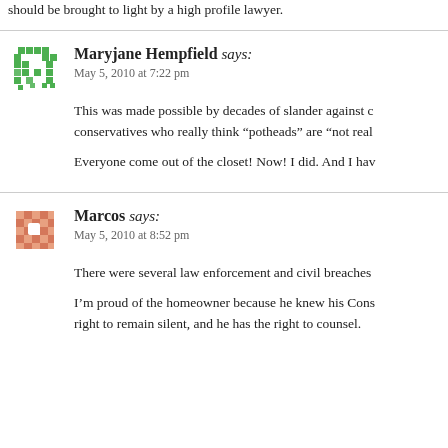should be brought to light by a high profile lawyer.
Maryjane Hempfield says:
May 5, 2010 at 7:22 pm
This was made possible by decades of slander against conservatives who really think “potheads” are “not real…
Everyone come out of the closet! Now! I did. And I hav…
Marcos says:
May 5, 2010 at 8:52 pm
There were several law enforcement and civil breaches…
I’m proud of the homeowner because he knew his Cons… right to remain silent, and he has the right to counsel.